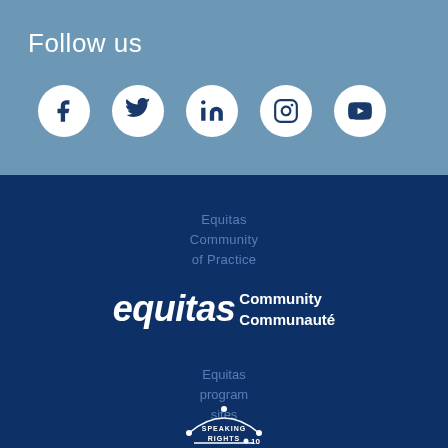Follow us
[Figure (infographic): Five social media icons in white circles: Facebook, Twitter, LinkedIn, Instagram, YouTube]
Equitas Community of Practice
[Figure (logo): Equitas Community Communauté logo in white on dark blue background]
Equitas program sites
[Figure (logo): Speaking Rights 10 circular logo]